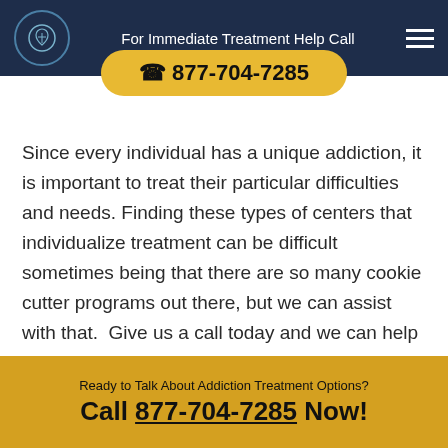For Immediate Treatment Help Call
☎ 877-704-7285
Since every individual has a unique addiction, it is important to treat their particular difficulties and needs. Finding these types of centers that individualize treatment can be difficult sometimes being that there are so many cookie cutter programs out there, but we can assist with that. Give us a call today and we can help you to find the perfect fit in a treatment center.
Ready to Talk About Addiction Treatment Options? Call 877-704-7285 Now!